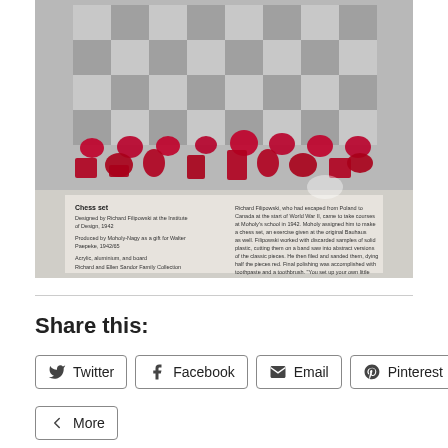[Figure (photo): Photo of a chess set with red acrylic pieces on a grey and white checkered aluminum board. The pieces are arranged in two rows showing all chess piece types. A museum label is visible at the bottom reading 'Chess set, Designed by Richard Filipowski at the Institute of Design, 1942, Produced by Moholy-Nagy as a gift for Walter Paepeke, 1942/65, Acrylic, aluminium, and board.']
Share this:
Twitter
Facebook
Email
Pinterest
Tumblr
More